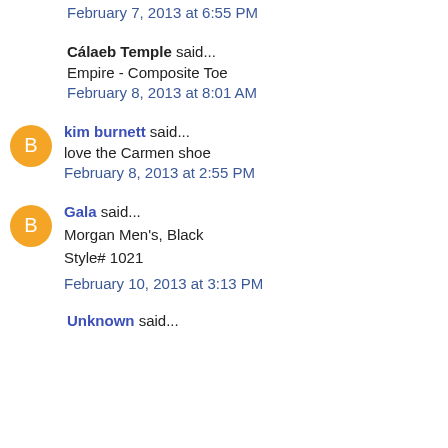February 7, 2013 at 6:55 PM
Cálaeb Temple said...
Empire - Composite Toe
February 8, 2013 at 8:01 AM
kim burnett said...
love the Carmen shoe
February 8, 2013 at 2:55 PM
Gala said...
Morgan Men's, Black
Style# 1021
February 10, 2013 at 3:13 PM
Unknown said...